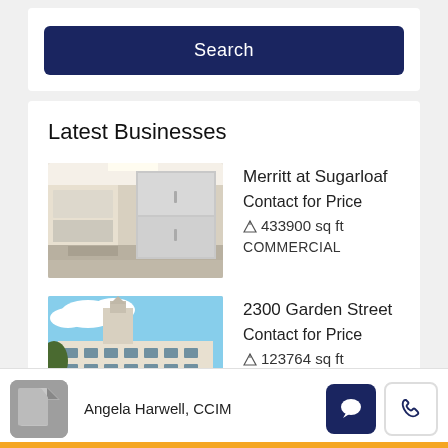Search
Latest Businesses
[Figure (photo): Interior photo of modern kitchen with stainless steel appliances – Merritt at Sugarloaf listing thumbnail]
Merritt at Sugarloaf
Contact for Price
433900 sq ft
COMMERCIAL
[Figure (photo): Exterior photo of historic building with tower – 2300 Garden Street listing thumbnail]
2300 Garden Street
Contact for Price
123764 sq ft
Angela Harwell, CCIM